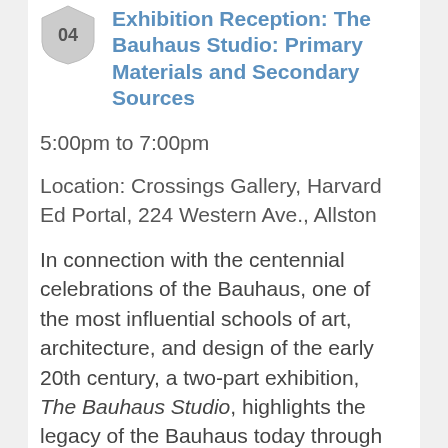Exhibition Reception: The Bauhaus Studio: Primary Materials and Secondary Sources
5:00pm to 7:00pm
Location: Crossings Gallery, Harvard Ed Portal, 224 Western Ave., Allston
In connection with the centennial celebrations of the Bauhaus, one of the most influential schools of art, architecture, and design of the early 20th century, a two-part exhibition, The Bauhaus Studio, highlights the legacy of the Bauhaus today through artistic responses by Harvard students.